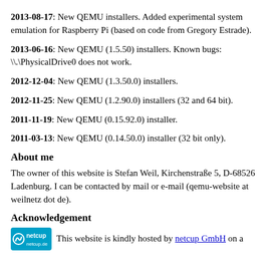2013-08-17: New QEMU installers. Added experimental system emulation for Raspberry Pi (based on code from Gregory Estrade).
2013-06-16: New QEMU (1.5.50) installers. Known bugs: \\.\PhysicalDrive0 does not work.
2012-12-04: New QEMU (1.3.50.0) installers.
2012-11-25: New QEMU (1.2.90.0) installers (32 and 64 bit).
2011-11-19: New QEMU (0.15.92.0) installer.
2011-03-13: New QEMU (0.14.50.0) installer (32 bit only).
About me
The owner of this website is Stefan Weil, Kirchenstraße 5, D-68526 Ladenburg. I can be contacted by mail or e-mail (qemu-website at weilnetz dot de).
Acknowledgement
This website is kindly hosted by netcup GmbH on a